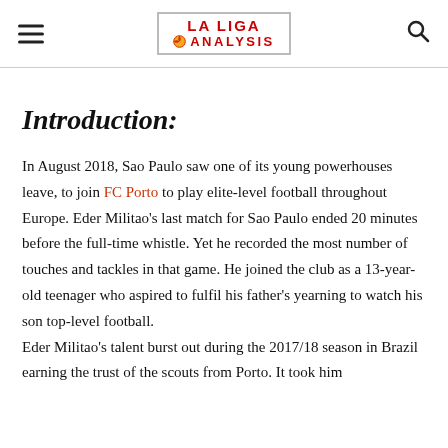LA LIGA ANALYSIS
Introduction:
In August 2018, Sao Paulo saw one of its young powerhouses leave, to join FC Porto to play elite-level football throughout Europe. Eder Militao's last match for Sao Paulo ended 20 minutes before the full-time whistle. Yet he recorded the most number of touches and tackles in that game. He joined the club as a 13-year-old teenager who aspired to fulfil his father's yearning to watch his son top-level football.
Eder Militao's talent burst out during the 2017/18 season in Brazil earning the trust of the scouts from Porto. It took him